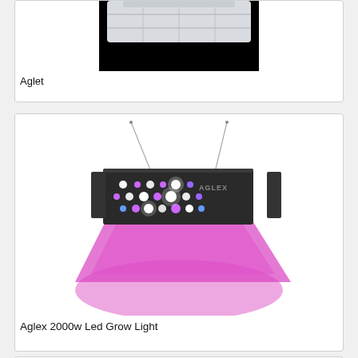[Figure (photo): Partial top view of a clear plastic organizer/storage box with dividers on a black background, cropped at top.]
Aglet
[Figure (photo): Aglex 2000w LED grow light panel suspended by wires, emitting bright pink/purple light downward, with multiple LED diodes visible on the panel surface.]
Aglex 2000w Led Grow Light